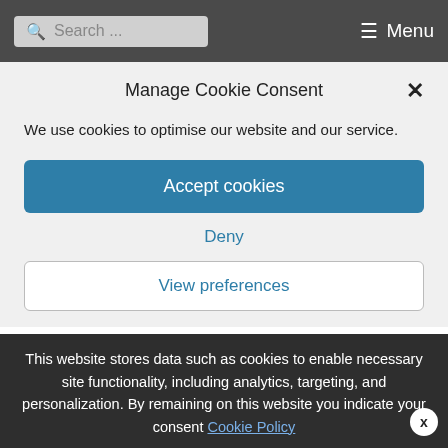Search ... Menu
Ridgways
The Rockingham or Swinton Works
Manage Cookie Consent
We use cookies to optimise our website and our service.
Accept cookies
Deny
View preferences
This website stores data such as cookies to enable necessary site functionality, including analytics, targeting, and personalization. By remaining on this website you indicate your consent Cookie Policy